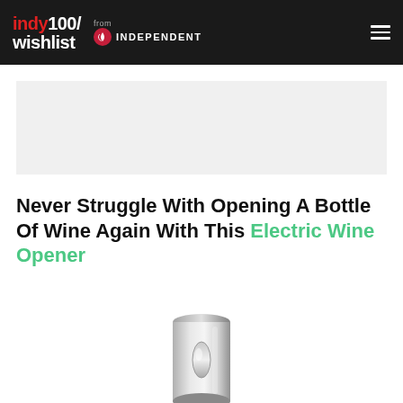indy100/ wishlist from INDEPENDENT
[Figure (other): Advertisement banner placeholder, light gray background]
Never Struggle With Opening A Bottle Of Wine Again With This Electric Wine Opener
[Figure (photo): Silver metallic electric wine opener device, top portion visible, cylindrical shape with oval button]